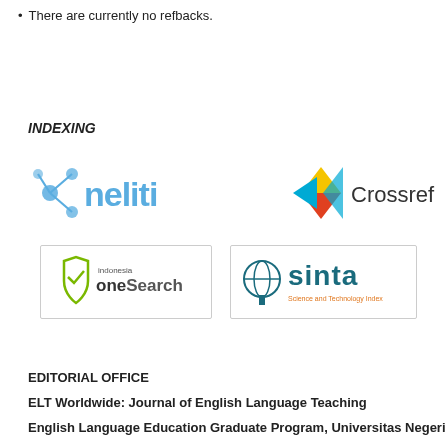There are currently no refbacks.
INDEXING
[Figure (logo): Neliti logo - blue text 'neliti' with network node icon]
[Figure (logo): Crossref logo - colored diagonal arrows with 'Crossref' text]
[Figure (logo): Indonesia OneSearch logo in a bordered box]
[Figure (logo): SINTA Science and Technology Index logo in a bordered box]
EDITORIAL OFFICE
ELT Worldwide: Journal of English Language Teaching
English Language Education Graduate Program, Universitas Negeri Makas